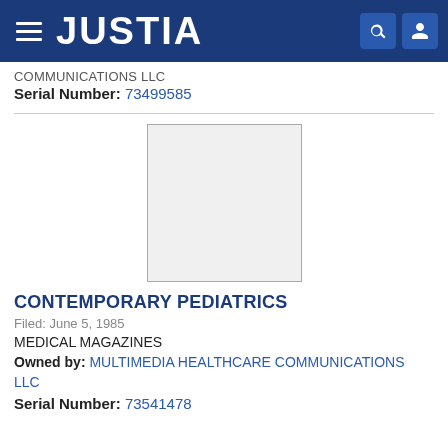[Figure (logo): Justia website navigation bar with hamburger menu, JUSTIA logo in white on dark blue background, and search/user icons]
COMMUNICATIONS LLC
Serial Number: 73499585
[Figure (other): Empty gray square placeholder for trademark image]
CONTEMPORARY PEDIATRICS
Filed: June 5, 1985
MEDICAL MAGAZINES
Owned by: MULTIMEDIA HEALTHCARE COMMUNICATIONS LLC
Serial Number: 73541478